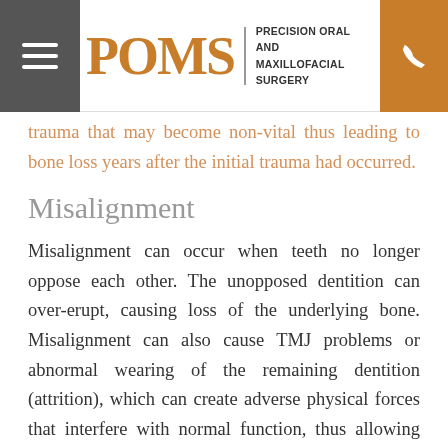POMS PRECISION ORAL AND MAXILLOFACIAL SURGERY
trauma that may become non-vital thus leading to bone loss years after the initial trauma had occurred.
Misalignment
Misalignment can occur when teeth no longer oppose each other. The unopposed dentition can over-erupt, causing loss of the underlying bone. Misalignment can also cause TMJ problems or abnormal wearing of the remaining dentition (attrition), which can create adverse physical forces that interfere with normal function, thus allowing the bone to deteriorate.